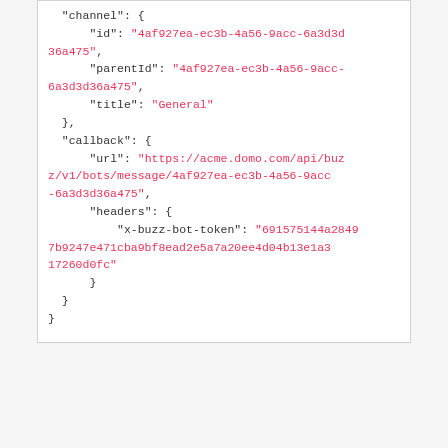"channel": {
    "id": "4af927ea-ec3b-4a56-9acc-6a3d3d36a475",
    "parentId": "4af927ea-ec3b-4a56-9acc-6a3d3d36a475",
    "title": "General"
},
"callback": {
    "url": "https://acme.domo.com/api/buz/v1/bots/message/4af927ea-ec3b-4a56-9acc-6a3d3d36a475",
    "headers": {
        "x-buzz-bot-token": "6915751 44a28497b9247e471cba9bf8ead2e5a7a20ee4d04b13e1a317260d0fc"
    }
}